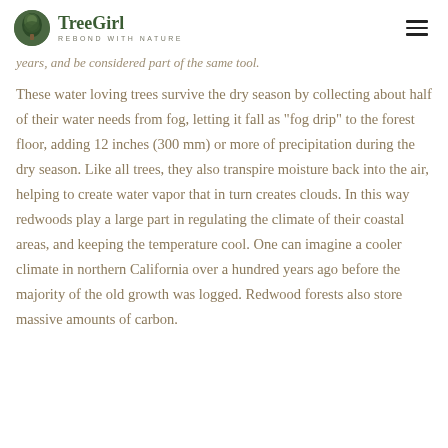TreeGirl REBOND WITH NATURE
years, and be considered part of the same tool.
These water loving trees survive the dry season by collecting about half of their water needs from fog, letting it fall as "fog drip" to the forest floor, adding 12 inches (300 mm) or more of precipitation during the dry season. Like all trees, they also transpire moisture back into the air, helping to create water vapor that in turn creates clouds. In this way redwoods play a large part in regulating the climate of their coastal areas, and keeping the temperature cool. One can imagine a cooler climate in northern California over a hundred years ago before the majority of the old growth was logged. Redwood forests also store massive amounts of carbon.